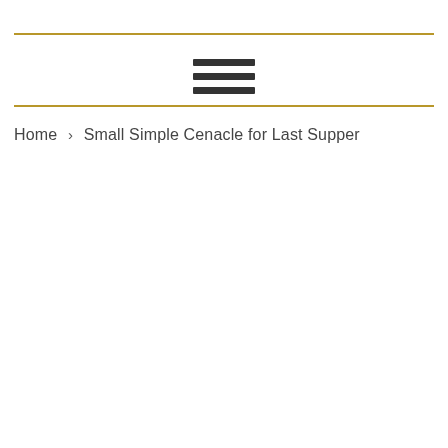[Figure (other): Hamburger menu icon with three horizontal bars, centered between two horizontal gold/amber divider lines]
Home › Small Simple Cenacle for Last Supper